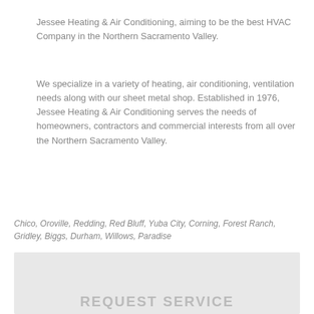Jessee Heating & Air Conditioning, aiming to be the best HVAC Company in the Northern Sacramento Valley.
We specialize in a variety of heating, air conditioning, ventilation needs along with our sheet metal shop. Established in 1976, Jessee Heating & Air Conditioning serves the needs of homeowners, contractors and commercial interests from all over the Northern Sacramento Valley.
Chico, Oroville, Redding, Red Bluff, Yuba City, Corning, Forest Ranch, Gridley, Biggs, Durham, Willows, Paradise
REQUEST SERVICE